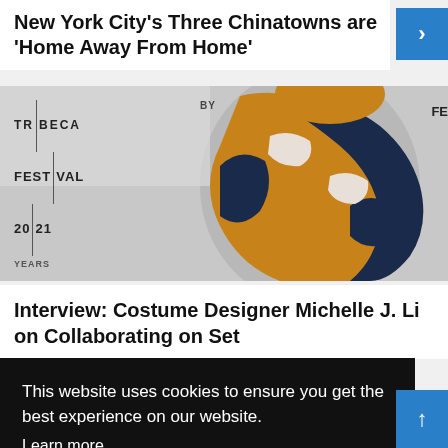New York City’s Three Chinatowns are ‘Home Away From Home’
[Figure (photo): Tribeca Festival 2021 event photo showing a person in a colorful patterned outfit with brown, black and white design. Text overlay reads TRIBECA FESTIVAL 20|21 YEARS and BY FE]
Interview: Costume Designer Michelle J. Li on Collaborating on Set
This website uses cookies to ensure you get the best experience on our website.
Learn more
Got it!